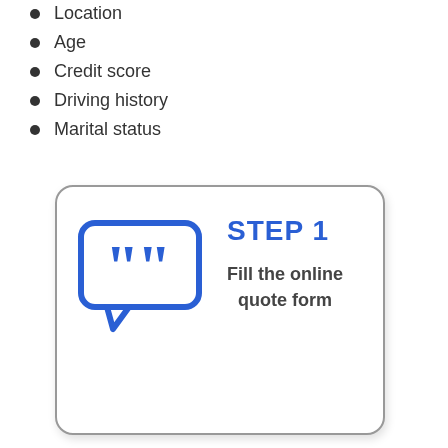Location
Age
Credit score
Driving history
Marital status
[Figure (infographic): A card with a rounded rectangle border containing a blue speech bubble icon with quotation marks on the left, and on the right 'STEP 1' in bold blue text above 'Fill the online quote form' in bold gray text.]